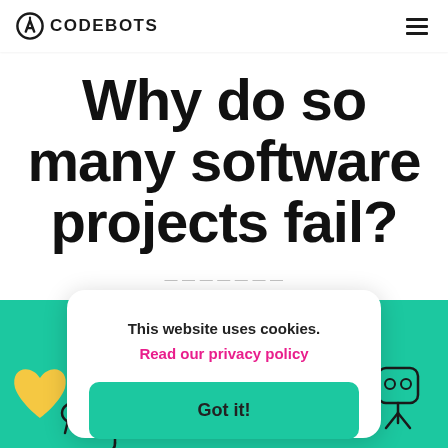CODEBOTS
Why do so many software projects fail?
This website uses cookies.
Read our privacy policy
Got it!
[Figure (illustration): Green background section with cartoon illustrations of characters and objects including a heart, umbrella, and other icons]